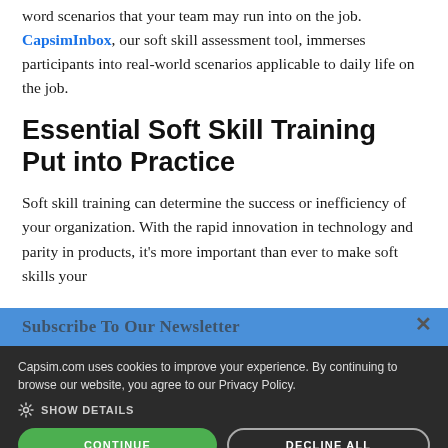CapsimInbox, our soft skill assessment tool, immerses participants into real-world scenarios applicable to daily life on the job.
Essential Soft Skill Training Put into Practice
Soft skill training can determine the success or inefficiency of your organization. With the rapid innovation in technology and parity in products, it's more important than ever to make soft skills your competitive advantage.
Capsim.com uses cookies to improve your experience. By continuing to browse our website, you agree to our Privacy Policy.
SHOW DETAILS
CONTINUE
DECLINE ALL